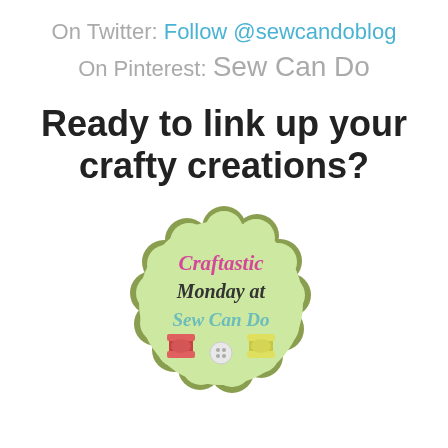On Twitter: Follow @sewcandoblog
On Pinterest: Sew Can Do
Ready to link up your crafty creations?
[Figure (logo): Craftastic Monday at Sew Can Do logo - a scalloped circle in light green with pink cursive text and thread spools at the bottom]
Party rules are simple:
As long as it's crafty, and made by you, it's